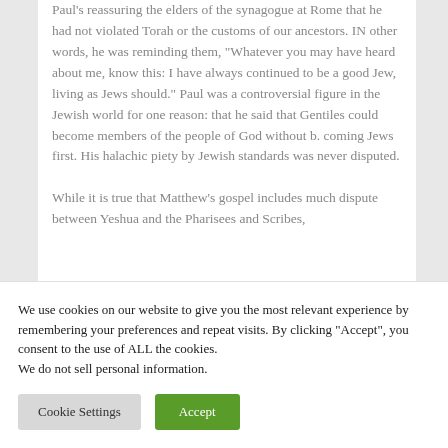Paul's reassuring the elders of the synagogue at Rome that he had not violated Torah or the customs of our ancestors. IN other words, he was reminding them, "Whatever you may have heard about me, know this: I have always continued to be a good Jew, living as Jews should." Paul was a controversial figure in the Jewish world for one reason: that he said that Gentiles could become members of the people of God without b. coming Jews first. His halachic piety by Jewish standards was never disputed.

While it is true that Matthew's gospel includes much dispute between Yeshua and the Pharisees and Scribes,
We use cookies on our website to give you the most relevant experience by remembering your preferences and repeat visits. By clicking "Accept", you consent to the use of ALL the cookies. We do not sell personal information.